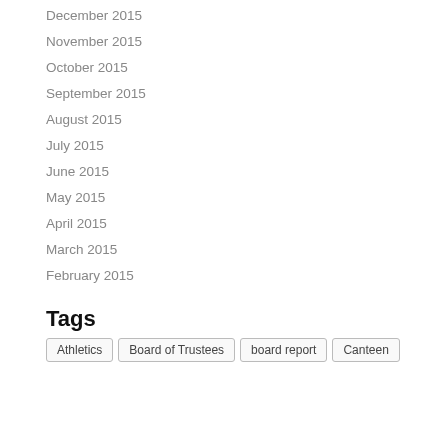December 2015
November 2015
October 2015
September 2015
August 2015
July 2015
June 2015
May 2015
April 2015
March 2015
February 2015
Tags
Athletics
Board of Trustees
board report
Canteen